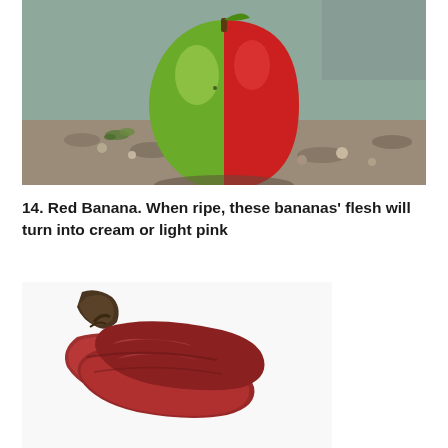[Figure (photo): A half green, half red apple resting on a gravelly rocky surface with small moss patches. The apple is split vertically — left side green, right side red.]
14. Red Banana. When ripe, these bananas' flesh will turn into cream or light pink
[Figure (photo): A bunch of red bananas with a dark brown stem/stalk at the top, showing deep reddish-purple peel coloring.]